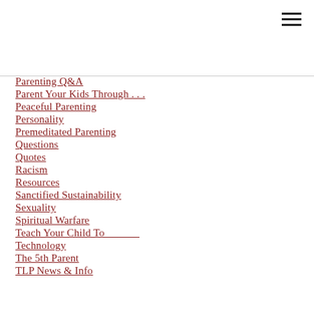[Figure (other): Hamburger menu icon (three horizontal lines) in top right corner]
Parenting Q&A
Parent Your Kids Through . . .
Peaceful Parenting
Personality
Premeditated Parenting
Questions
Quotes
Racism
Resources
Sanctified Sustainability
Sexuality
Spiritual Warfare
Teach Your Child To
Technology
The 5th Parent
TLP News & Info
Wisdom